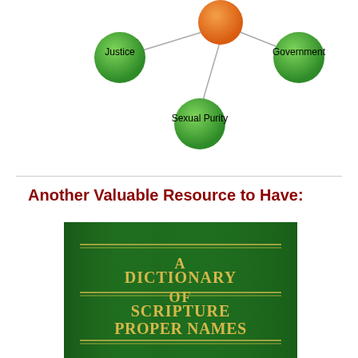[Figure (network-graph): A network graph with an orange node at the top center connected to three green nodes: Justice (upper left), Government (upper right), and Sexual Purity (bottom center).]
Another Valuable Resource to Have:
[Figure (photo): Book cover image: A Dictionary of Scripture Proper Names, dark green background with yellow/gold serif text and decorative lines.]